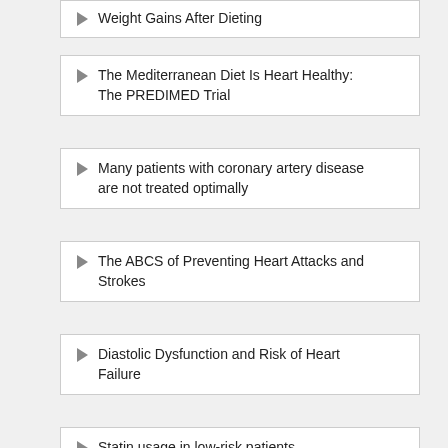Weight Gains After Dieting
The Mediterranean Diet Is Heart Healthy: The PREDIMED Trial
Many patients with coronary artery disease are not treated optimally
The ABCS of Preventing Heart Attacks and Strokes
Diastolic Dysfunction and Risk of Heart Failure
Statin usage in low-risk patients
Trans catheter aortic valve implantation (TAVI)
Treatment of Ischemic Heart Failure